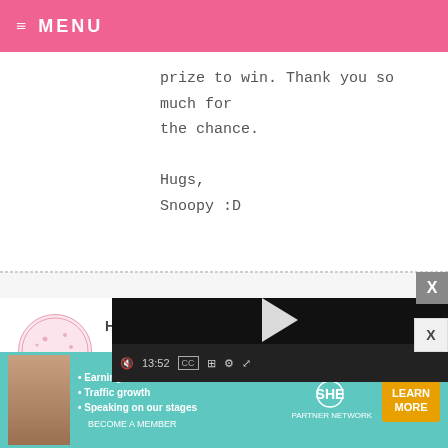MENU
prize to win. Thank you so much for the chance.

Hugs,
Snoopy :D
HEATHER
They're b... choose, I... accent.
[Figure (screenshot): Embedded video player with black background, play button, progress bar, and controls showing 13:52 timestamp]
[Figure (infographic): SHE Partner Network advertisement banner with teal background showing woman photo, bullet points about Earning site & social revenue, Traffic growth, Speaking on our stages, SHE logo, and LEARN MORE button]